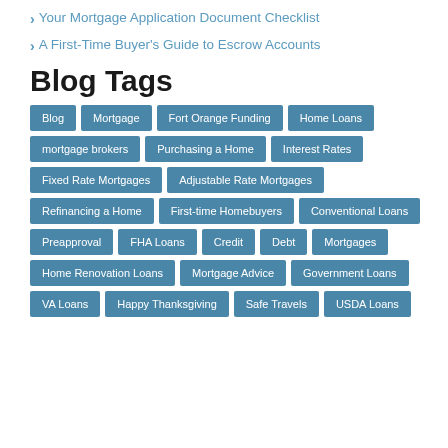> Your Mortgage Application Document Checklist
> A First-Time Buyer's Guide to Escrow Accounts
Blog Tags
Blog
Mortgage
Fort Orange Funding
Home Loans
mortgage brokers
Purchasing a Home
Interest Rates
Fixed Rate Mortgages
Adjustable Rate Mortgages
Refinancing a Home
First-time Homebuyers
Conventional Loans
Preapproval
FHA Loans
Credit
Debt
Mortgages
Home Renovation Loans
Mortgage Advice
Government Loans
VA Loans
Happy Thanksgiving
Safe Travels
USDA Loans